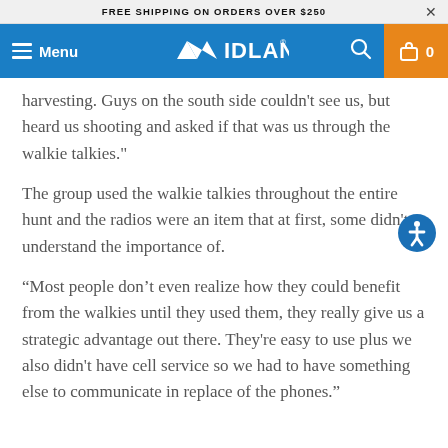FREE SHIPPING ON ORDERS OVER $250
Menu | MIDLAND | 0
harvesting. Guys on the south side couldn’t see us, but heard us shooting and asked if that was us through the walkie talkies."
The group used the walkie talkies throughout the entire hunt and the radios were an item that at first, some didn't understand the importance of.
“Most people don’t even realize how they could benefit from the walkies until they used them, they really give us a strategic advantage out there. They're easy to use plus we also didn't have cell service so we had to have something else to communicate in replace of the phones.”